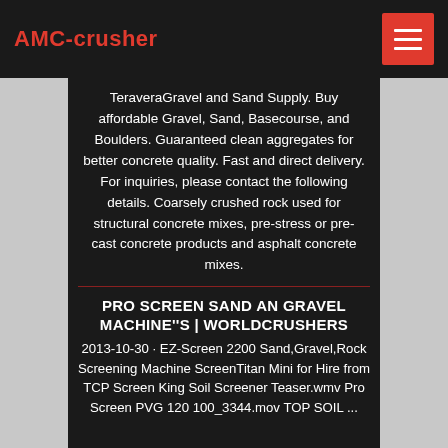AMC-crusher
TeraveraGravel and Sand Supply. Buy affordable Gravel, Sand, Basecourse, and Boulders. Guaranteed clean aggregates for better concrete quality. Fast and direct delivery. For inquiries, please contact the following details. Coarsely crushed rock used for structural concrete mixes, pre-stress or pre-cast concrete products and asphalt concrete mixes.
PRO SCREEN SAND AN GRAVEL MACHINE''S | WORLDCRUSHERS
2013-10-30 · EZ-Screen 2200 Sand,Gravel,Rock Screening Machine ScreenTitan Mini for Hire from TCP Screen King Soil Screener Teaser.wmv Pro Screen PVG 120 100_3344.mov TOP SOIL ...